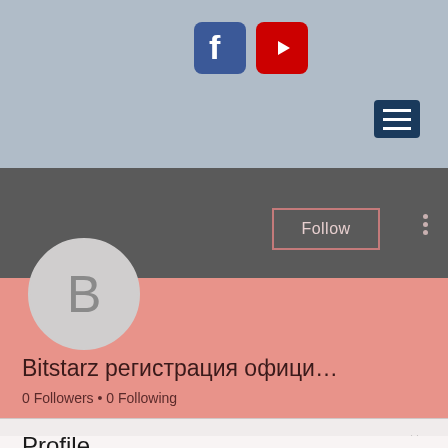[Figure (screenshot): Top gray header section with Facebook and YouTube social media icons]
[Figure (screenshot): Hamburger menu icon (three horizontal white lines on dark blue background)]
[Figure (screenshot): Dark gray profile band with Follow button and three dots menu]
[Figure (screenshot): Pink profile section with circular avatar showing letter B]
Bitstarz регистрация офици…
0 Followers • 0 Following
Profile